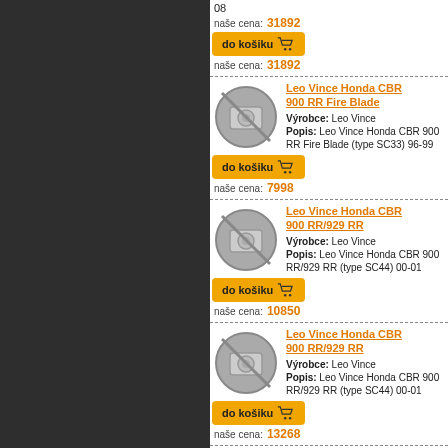[Figure (screenshot): Dark left panel of a webpage, navigation or sidebar area]
08
naše cena: 31892
[Figure (illustration): No-image placeholder icon (camera with slash)]
Leo Vince Honda CBR 900 RR Fire Blade
Výrobce: Leo Vince
Popis: Leo Vince Honda CBR 900 RR Fire Blade (type SC33) 96-99
naše cena: 7998
[Figure (illustration): No-image placeholder icon (camera with slash)]
Leo Vince Honda CBR 900 RR/929 RR
Výrobce: Leo Vince
Popis: Leo Vince Honda CBR 900 RR/929 RR (type SC44) 00-01
naše cena: 10850
[Figure (illustration): No-image placeholder icon (camera with slash)]
Leo Vince Honda CBR 900 RR/929 RR
Výrobce: Leo Vince
Popis: Leo Vince Honda CBR 900 RR/929 RR (type SC44) 00-01
naše cena: 13268